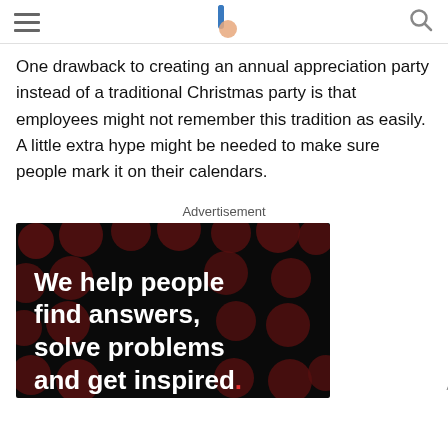Navigation header with hamburger menu, logo, and search icon
One drawback to creating an annual appreciation party instead of a traditional Christmas party is that employees might not remember this tradition as easily. A little extra hype might be needed to make sure people mark it on their calendars.
Advertisement
[Figure (photo): Dark advertisement banner with dark red polka dot pattern background. Bold white text reads 'We help people find answers, solve problems and get inspired.' with a red period at the end. Small 'Ad' label in lower right.]